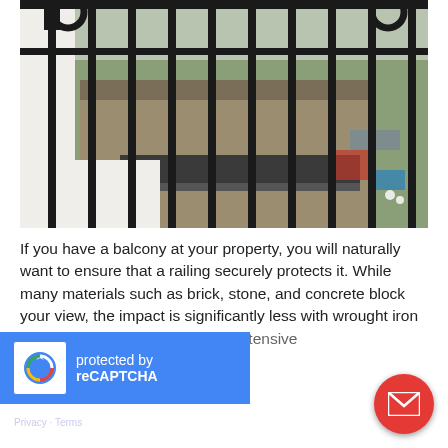[Figure (photo): Close-up photo of black wrought iron balcony railings with vertical bars and ornamental details, viewed from above showing a garden/yard below with stone ledge, planters, and scattered items.]
If you have a balcony at your property, you will naturally want to ensure that a railing securely protects it. While many materials such as brick, stone, and concrete block your view, the impact is significantly less with wrought iron balcony railings ... we have an extensive [...]